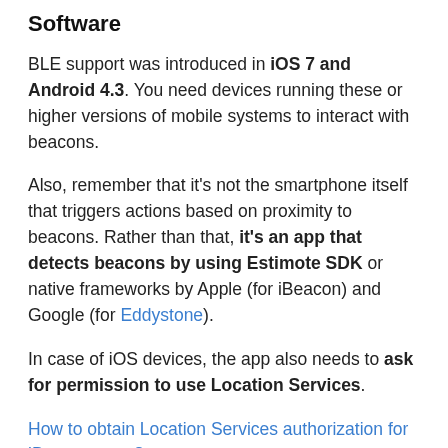Software
BLE support was introduced in iOS 7 and Android 4.3. You need devices running these or higher versions of mobile systems to interact with beacons.
Also, remember that it's not the smartphone itself that triggers actions based on proximity to beacons. Rather than that, it's an app that detects beacons by using Estimote SDK or native frameworks by Apple (for iBeacon) and Google (for Eddystone).
In case of iOS devices, the app also needs to ask for permission to use Location Services.
How to obtain Location Services authorization for iBeacon apps?
Related knowledge:
How does an Estimote Beacon work?